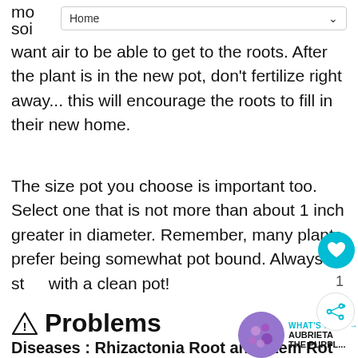Home
mo... soi... you want air to be able to get to the roots. After the plant is in the new pot, don't fertilize right away... this will encourage the roots to fill in their new home.
The size pot you choose is important too. Select one that is not more than about 1 inch greater in diameter. Remember, many plants prefer being somewhat pot bound. Always start with a clean pot!
⚠ Problems
WHAT'S NEXT → AUBRIETA THE PURPL...
Diseases : Rhizactonia Root and Stem Rot